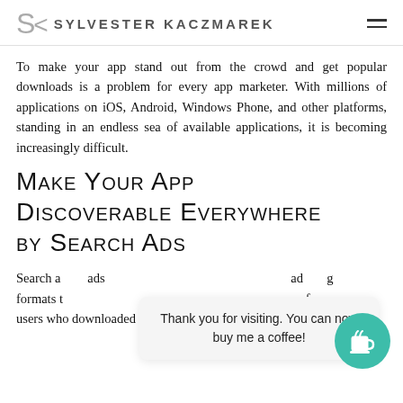SK SYLVESTER KACZMAREK
To make your app stand out from the crowd and get popular downloads is a problem for every app marketer. With millions of applications on iOS, Android, Windows Phone, and other platforms, standing in an endless sea of available applications, it is becoming increasingly difficult.
Make Your App Discoverable Everywhere by Search Ads
Search ads ... ads ... formats t ... ops: ... of users who downloaded an app said in a survey that
Thank you for visiting. You can now buy me a coffee!